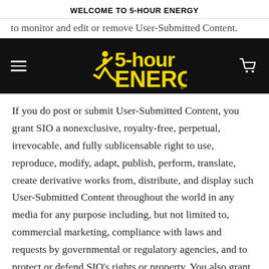WELCOME TO 5-HOUR ENERGY
to monitor and edit or remove User-Submitted Content.
[Figure (logo): 5-hour ENERGY logo on black navigation bar with hamburger menu icon on left and shopping cart icon on right]
If you do post or submit User-Submitted Content, you grant SIO a nonexclusive, royalty-free, perpetual, irrevocable, and fully sublicensable right to use, reproduce, modify, adapt, publish, perform, translate, create derivative works from, distribute, and display such User-Submitted Content throughout the world in any media for any purpose including, but not limited to, commercial marketing, compliance with laws and requests by governmental or regulatory agencies, and to protect or defend SIO's rights or property. You also grant SIO and its sublicensees the right to use the name that